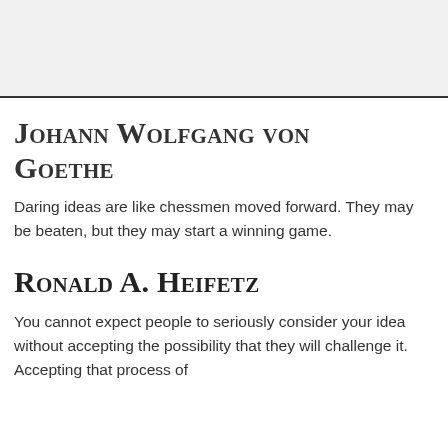[Figure (other): Gray background block at top of page]
Johann Wolfgang von Goethe
Daring ideas are like chessmen moved forward. They may be beaten, but they may start a winning game.
Ronald A. Heifetz
You cannot expect people to seriously consider your idea without accepting the possibility that they will challenge it. Accepting that process of...